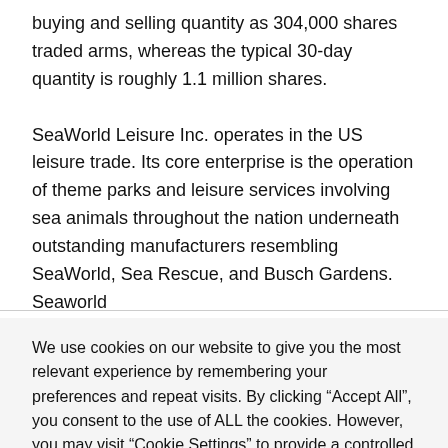buying and selling quantity as 304,000 shares traded arms, whereas the typical 30-day quantity is roughly 1.1 million shares.
SeaWorld Leisure Inc. operates in the US leisure trade. Its core enterprise is the operation of theme parks and leisure services involving sea animals throughout the nation underneath outstanding manufacturers resembling SeaWorld, Sea Rescue, and Busch Gardens. Seaworld
We use cookies on our website to give you the most relevant experience by remembering your preferences and repeat visits. By clicking “Accept All”, you consent to the use of ALL the cookies. However, you may visit "Cookie Settings" to provide a controlled consent.